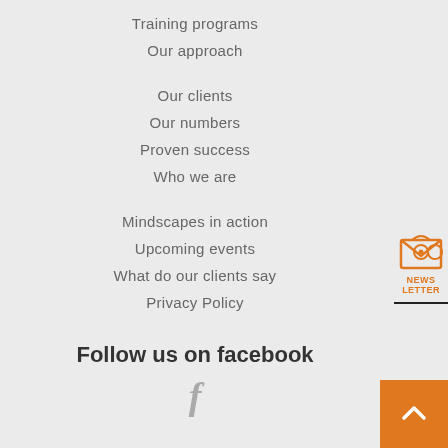Training programs
Our approach
Our clients
Our numbers
Proven success
Who we are
Mindscapes in action
Upcoming events
What do our clients say
Privacy Policy
Follow us on facebook
[Figure (logo): Facebook icon (letter f)]
[Figure (illustration): Newsletter widget with envelope icon and NEWSLETTER label]
[Figure (illustration): Back to top button with upward chevron arrow]